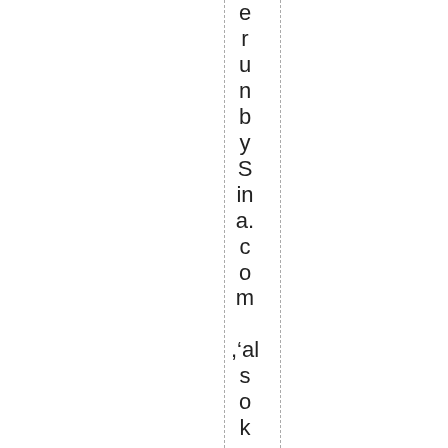erunbyS in a.com, also known as"  w